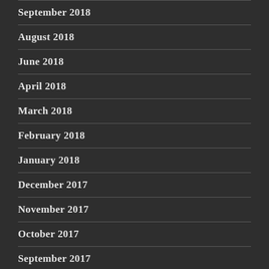September 2018
August 2018
June 2018
April 2018
March 2018
February 2018
January 2018
December 2017
November 2017
October 2017
September 2017